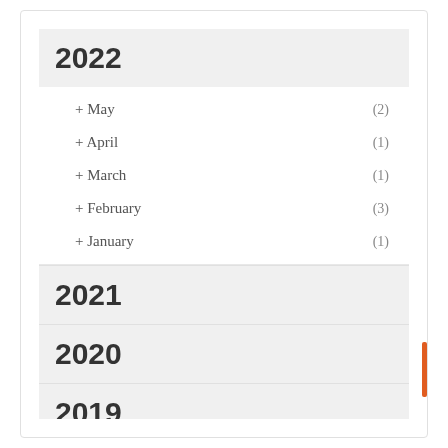2022
+ May (2)
+ April (1)
+ March (1)
+ February (3)
+ January (1)
2021
2020
2019
2018